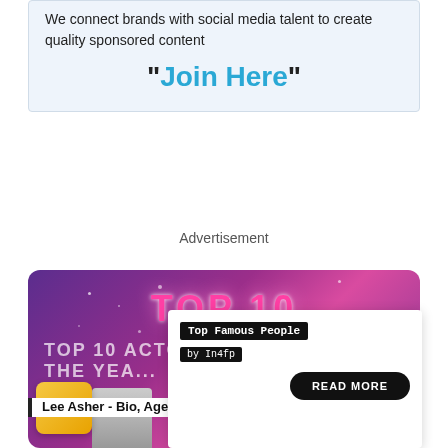We connect brands with social media talent to create quality sponsored content
"Join Here"
Advertisement
[Figure (illustration): Purple/pink gradient banner with 'TOP 10' text in pink neon style, and 'TOP 10 ACTORS OF THE YEAR' text overlay. Features sparkle effects. An overlay card shows 'Top Famous People by In4fp' label, a READ MORE button, and a number 1 badge with a male portrait thumbnail.]
Lee Asher - Bio, Age, Wiki, Facts and Family - in4fp.com